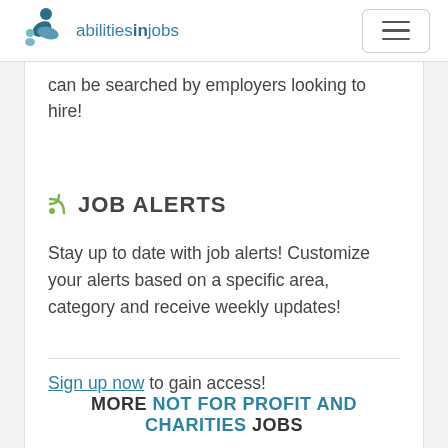[Figure (logo): abilitiesinjobs logo with person icon in teal/blue and text 'abilitiesinjobs']
can be searched by employers looking to hire!
JOB ALERTS
Stay up to date with job alerts! Customize your alerts based on a specific area, category and receive weekly updates!
Sign up now to gain access!
MORE NOT FOR PROFIT AND CHARITIES JOBS